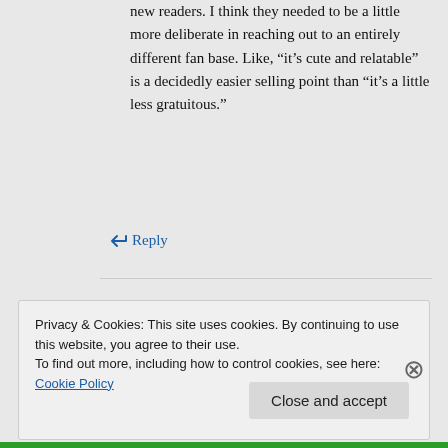new readers. I think they needed to be a little more deliberate in reaching out to an entirely different fan base. Like, “it’s cute and relatable” is a decidedly easier selling point than “it’s a little less gratuitous.”
↪ Reply
Privacy & Cookies: This site uses cookies. By continuing to use this website, you agree to their use.
To find out more, including how to control cookies, see here: Cookie Policy